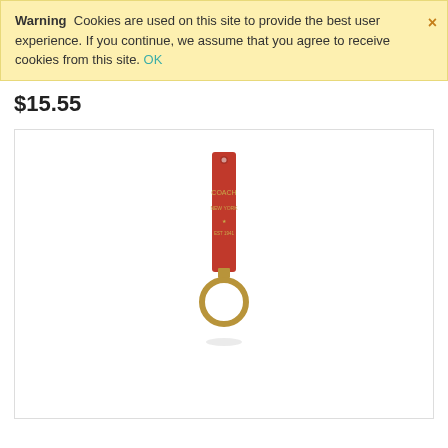Warning  Cookies are used on this site to provide the best user experience. If you continue, we assume that you agree to receive cookies from this site. OK
$15.55
[Figure (photo): A red leather keychain fob with gold text and a gold metal ring at the bottom, shown on a white background inside a bordered box.]